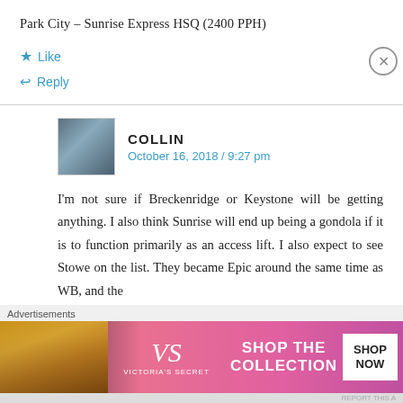Park City – Sunrise Express HSQ (2400 PPH)
Like
Reply
COLLIN
October 16, 2018 / 9:27 pm
I'm not sure if Breckenridge or Keystone will be getting anything. I also think Sunrise will end up being a gondola if it is to function primarily as an access lift. I also expect to see Stowe on the list. They became Epic around the same time as WB, and the
Advertisements
[Figure (photo): Victoria's Secret advertisement banner showing a model with curly hair on the left, VS logo in center, 'SHOP THE COLLECTION' text, and a white 'SHOP NOW' button on the right, pink/dark gradient background.]